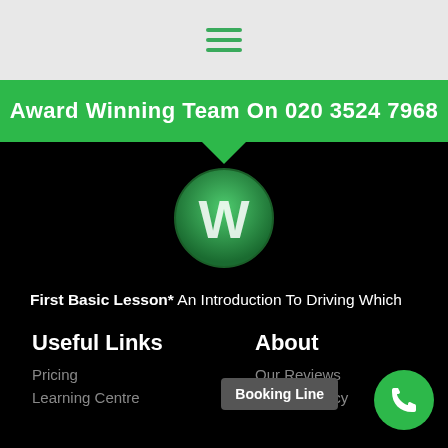[Figure (logo): Hamburger menu icon with three green horizontal lines on grey background]
Award Winning Team On 020 3524 7968
[Figure (logo): Green circular logo with white W letter]
First Basic Lesson* An Introduction To Driving Which Is Aimed For People With No Driving Experience (Terms & Conditions Apply)
Useful Links
About
Pricing
Learning Centre
Our Reviews
Privacy Policy
Booking Line